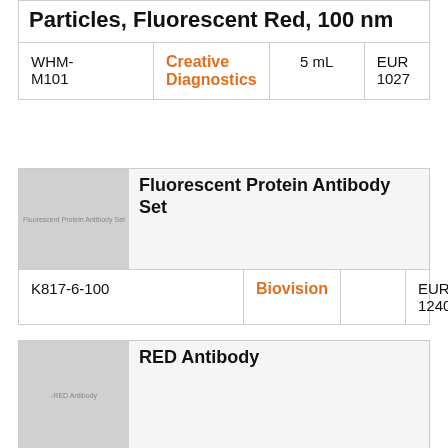Particles, Fluorescent Red, 100 nm
| SKU | Brand | Volume | Price |
| --- | --- | --- | --- |
| WHM-M101 | Creative Diagnostics | 5 mL | EUR 1027 |
[Figure (photo): Product image placeholder for Fluorescent Protein Antibody Set]
Fluorescent Protein Antibody Set
| SKU | Brand | Volume | Price |
| --- | --- | --- | --- |
| K817-6-100 | Biovision |  | EUR 1240 |
[Figure (photo): Product image placeholder for RED Antibody]
RED Antibody